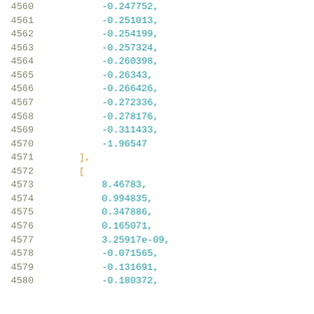Code listing showing array data from line 4560 to 4580, containing numeric values: -0.247752, -0.251013, -0.254199, -0.257324, -0.260398, -0.26343, -0.266426, -0.272336, -0.278176, -0.311433, -1.96547, ], [, 8.46783, 0.994835, 0.347886, 0.165071, 3.25917e-09, -0.071565, -0.131691, -0.180372,